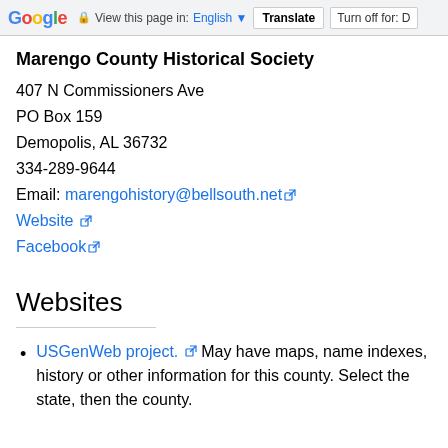Google View this page in: English Translate Turn off for: D
Marengo County Historical Society
407 N Commissioners Ave
PO Box 159
Demopolis, AL 36732
334-289-9644
Email: marengohistory@bellsouth.net
Website
Facebook
Websites
USGenWeb project. May have maps, name indexes, history or other information for this county. Select the state, then the county.